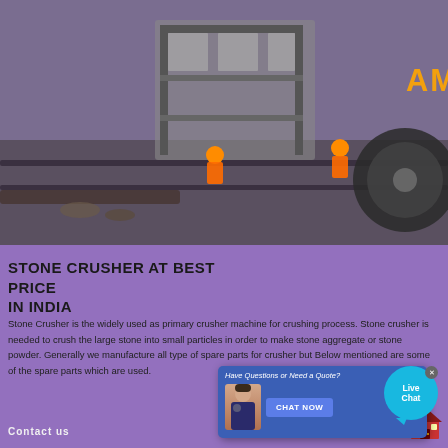[Figure (photo): Aerial view of stone crushing machinery at a construction/mining site with workers in orange safety gear and AMC logo overlay]
STONE CRUSHER AT BEST PRICE IN INDIA
Stone Crusher is the widely used as primary crusher machine for crushing process. Stone crusher is needed to crush the large stone into small particles in order to make stone aggregate or stone powder. Generally we manufacture all type of spare parts for crusher but Below mentioned are some of the spare parts which are used.
[Figure (screenshot): Live chat popup dialog with 'Have Questions or Need a Quote?' header, a female customer service representative avatar, and a CHAT NOW button. A live chat bubble with 'Live Chat' text appears to the right.]
Contact us